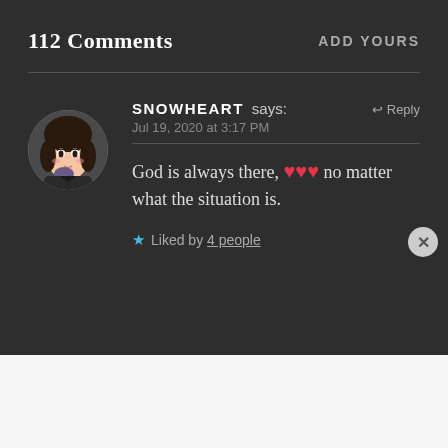112 Comments
ADD YOURS
SNOWHEART says: Jul 19, 2020 at 3:17 PM
God is always there, ❤❤❤ no matter what the situation is.
★ Liked by 4 people
Advertisements
[Figure (screenshot): User avatar - anime/cartoon style girl with dark hair]
[Figure (infographic): Tumblr Ad-Free Browsing advertisement banner: $39.99 a year or $4.99 a month]